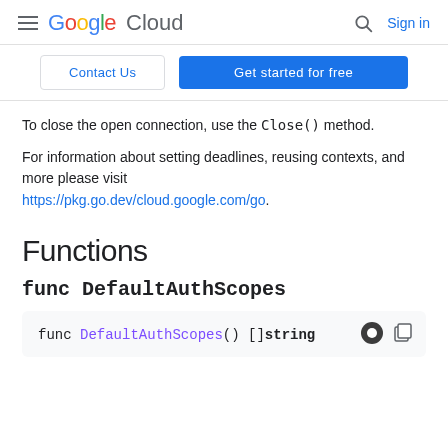Google Cloud | Sign in
Contact Us | Get started for free
To close the open connection, use the Close() method.
For information about setting deadlines, reusing contexts, and more please visit https://pkg.go.dev/cloud.google.com/go.
Functions
func DefaultAuthScopes
func DefaultAuthScopes() []string